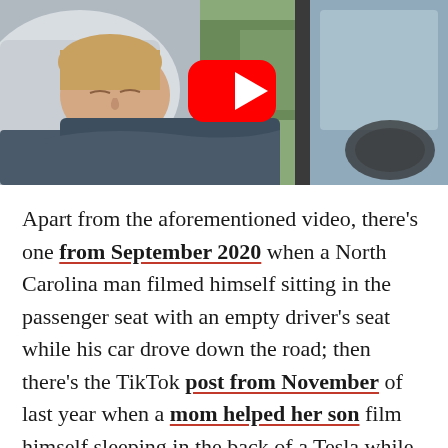[Figure (screenshot): Video thumbnail showing a young person sleeping in the back seat of a Tesla with a pillow and dark blanket, a YouTube play button overlay in the center, trees and fields visible through the car window.]
Apart from the aforementioned video, there's one from September 2020 when a North Carolina man filmed himself sitting in the passenger seat with an empty driver's seat while his car drove down the road; then there's the TikTok post from November of last year when a mom helped her son film himself sleeping in the back of a Tesla while driving down the